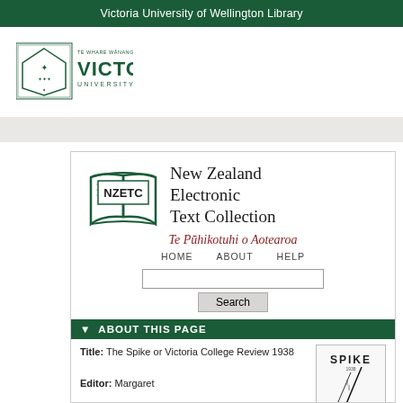Victoria University of Wellington Library
[Figure (logo): Victoria University of Wellington logo with crest and green text]
[Figure (logo): New Zealand Electronic Text Collection (NZETC) logo with open book graphic]
New Zealand Electronic Text Collection
Te Pūhikotuhi o Aotearoa
HOME   ABOUT   HELP
Search
▼ ABOUT THIS PAGE
Title: The Spike or Victoria College Review 1938
Editor: Margaret
[Figure (illustration): Cover image of Spike 1938 publication showing the word SPIKE in stylized text with a diagonal line illustration]